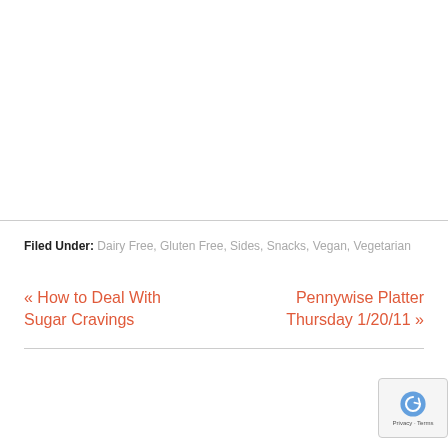Filed Under: Dairy Free, Gluten Free, Sides, Snacks, Vegan, Vegetarian
« How to Deal With Sugar Cravings
Pennywise Platter Thursday 1/20/11 »